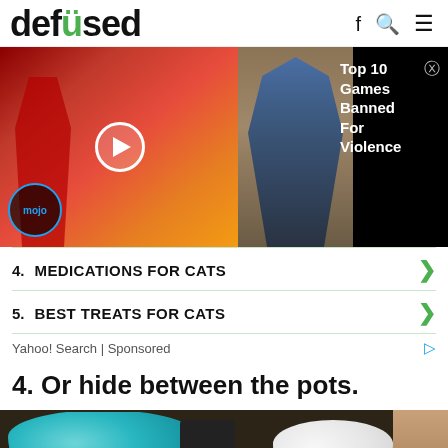defused
[Figure (screenshot): Video ad overlay showing a WatchMojo video thumbnail with 'Top 10 Games Banned For Violence' title on black background with close button]
4. MEDICATIONS FOR CATS
5. BEST TREATS FOR CATS
Yahoo! Search | Sponsored
4. Or hide between the pots.
[Figure (photo): Photo of kitchen pots and bowls including a teal/turquoise mixing bowl and a white bowl stacked in a cupboard]